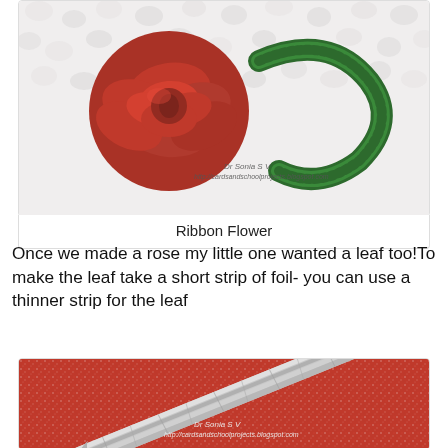[Figure (photo): A red fabric ribbon rose with a green stem/band on a white pebbly background. Watermark text: Dr Sonia S V, http://cardsandschoolprojects.blogspot.com]
Ribbon Flower
Once we made a rose my little one wanted a leaf too!To make the leaf take a short strip of foil- you can use a thinner strip for the leaf
[Figure (photo): A short strip of aluminum foil on a red speckled fabric background, showing a crinkled/folded foil strip. Watermark text: Dr Sonia S V, http://cardsandschoolprojects.blogspot.com]